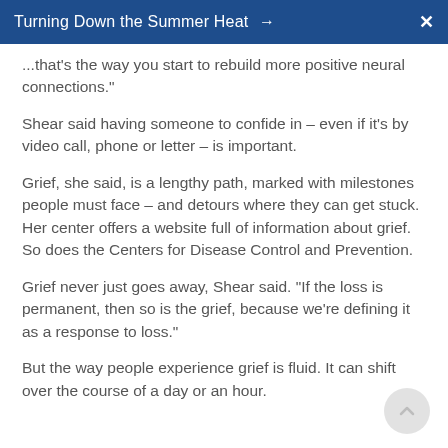Turning Down the Summer Heat →
...that's the way you start to rebuild more positive neural connections."
Shear said having someone to confide in – even if it's by video call, phone or letter – is important.
Grief, she said, is a lengthy path, marked with milestones people must face – and detours where they can get stuck. Her center offers a website full of information about grief. So does the Centers for Disease Control and Prevention.
Grief never just goes away, Shear said. "If the loss is permanent, then so is the grief, because we're defining it as a response to loss."
But the way people experience grief is fluid. It can shift over the course of a day or an hour.